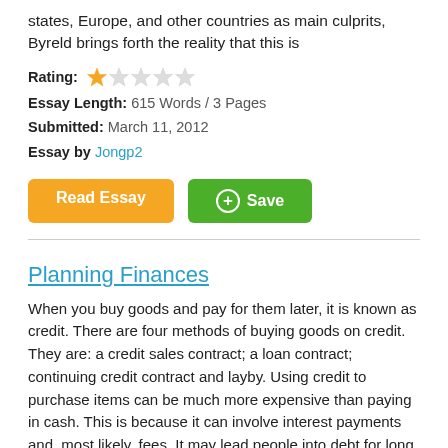states, Europe, and other countries as main culprits, Byreld brings forth the reality that this is
Rating: ★☆☆☆☆
Essay Length: 615 Words / 3 Pages
Submitted: March 11, 2012
Essay by Jongp2
[Figure (other): Two buttons: orange 'Read Essay' button and green '+ Save' button]
Planning Finances
When you buy goods and pay for them later, it is known as credit. There are four methods of buying goods on credit. They are: a credit sales contract; a loan contract; continuing credit contract and layby. Using credit to purchase items can be much more expensive than paying in cash. This is because it can involve interest payments and, most likely, fees. It may lead people into debt for long periods of time and
Rating: ★★★★☆